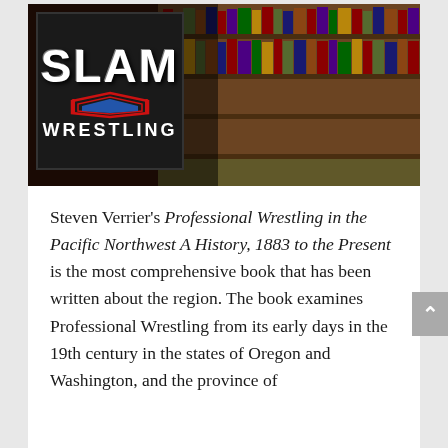[Figure (photo): Header image showing a library background with bookshelves in the background, and overlaid on the left side is the Slam Wrestling logo — a black square badge with 'SLAM' in large white bold letters, a wrestling ring icon in red and blue, and 'WRESTLING' below in white capital letters.]
Steven Verrier's Professional Wrestling in the Pacific Northwest A History, 1883 to the Present is the most comprehensive book that has been written about the region. The book examines Professional Wrestling from its early days in the 19th century in the states of Oregon and Washington, and the province of